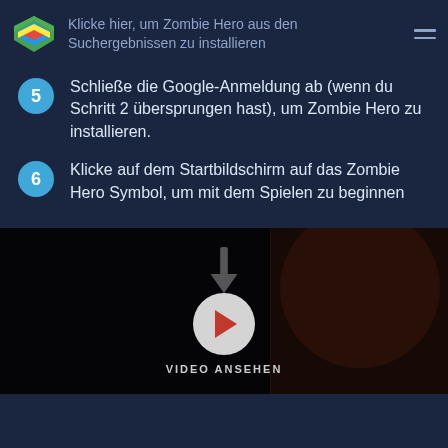Klicke hier, um Zombie Hero aus den Suchergebnissen zu installieren
5 Schließe die Google-Anmeldung ab (wenn du Schritt 2 übersprungen hast), um Zombie Hero zu installieren.
6 Klicke auf dem Startbildschirm auf das Zombie Hero Symbol, um mit dem Spielen zu beginnen
[Figure (screenshot): Video thumbnail showing a dark scene with a download/play button and an arrow pointing down to a circular play button. Label below reads VIDEO ANSEHEN.]